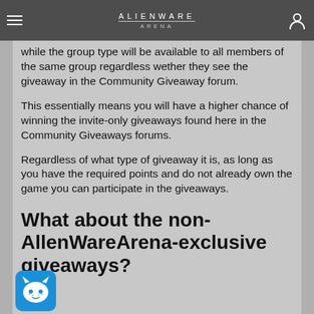ALIENWARE ARENA
while the group type will be available to all members of the same group regardless wether they see the giveaway in the Community Giveaway forum.
This essentially means you will have a higher chance of winning the invite-only giveaways found here in the Community Giveaways forums.
Regardless of what type of giveaway it is, as long as you have the required points and do not already own the game you can participate in the giveaways.
What about the non-AllenWareArena-exclusive giveaways?